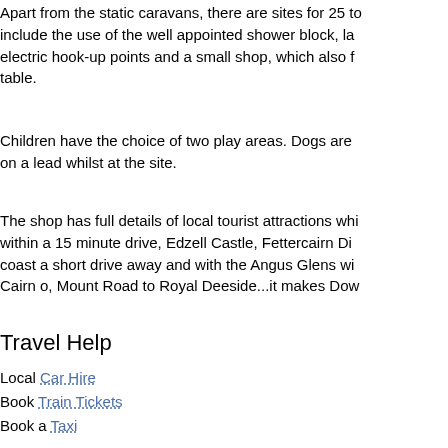Apart from the static caravans, there are sites for 25 to include the use of the well appointed shower block, la electric hook-up points and a small shop, which also f table.
Children have the choice of two play areas. Dogs are on a lead whilst at the site.
The shop has full details of local tourist attractions whi within a 15 minute drive, Edzell Castle, Fettercairn Di coast a short drive away and with the Angus Glens wi Cairn o, Mount Road to Royal Deeside...it makes Dow
Travel Help
Local Car Hire
Book Train Tickets
Book a Taxi
Facilities
Parking
Local Restaurants
Today's best hotels deals
This page viewed on 5,756 occasions since Oct 16th
Brit Quote: If you feel depressed or let down my advice is to roas